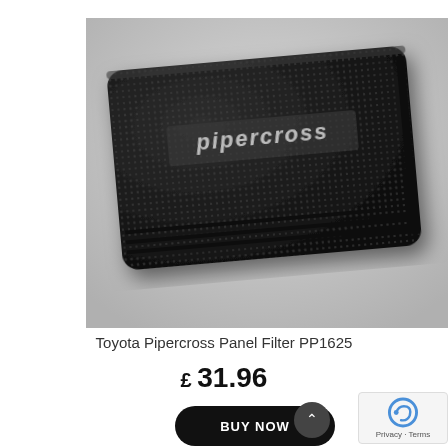[Figure (photo): A black Pipercross panel air filter with textured surface and silver Pipercross logo, photographed on a light grey background at a slight angle.]
Toyota Pipercross Panel Filter PP1625
£ 31.96
BUY NOW